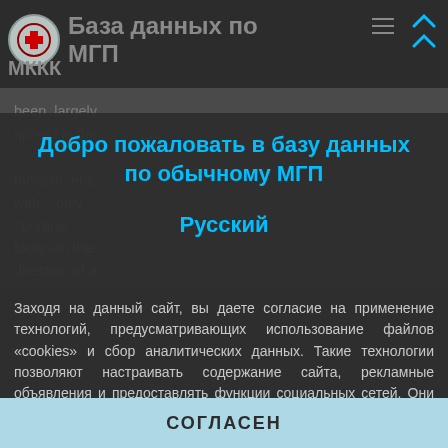База данных по МГП — МККК
Добро пожаловать в базу данных по обычному МГП
Русский
Заходя на данный сайт, вы даете согласие на применение технологий, предусматривающих использование файлов «cookies» и сбор аналитических данных. Такие технологии позволяют настраивать содержание сайта, рекламные объявления и предоставлять функции социальных сетей. Они будут использоваться для анализа посещений сайта, что позволит нам понять предпочтения посетителей и улучшить предоставляемые услуги. Узнать больше